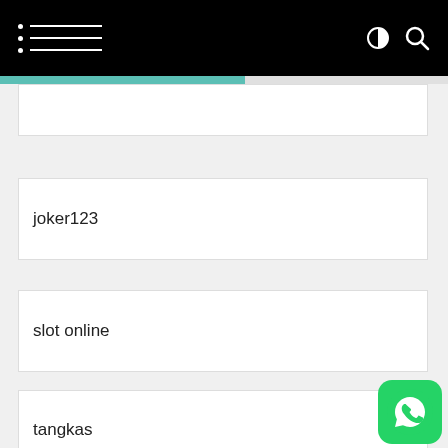Navigation header with hamburger menu, contrast toggle, and search icons
joker123
slot online
tangkas